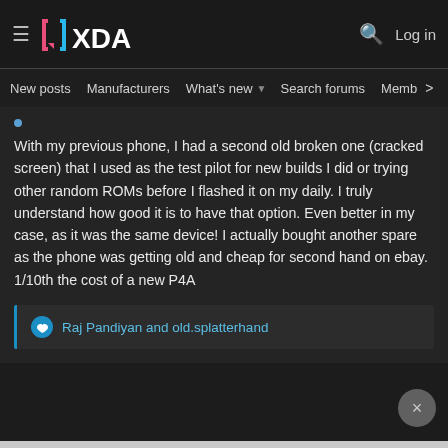XDA Forums - New posts | Manufacturers | What's new | Search forums | Members
With my previous phone, I had a second old broken one (cracked screen) that I used as the test pilot for new builds I did or trying other random ROMs before I flashed it on my daily. I truly understand how good it is to have that option. Even better in my case, as it was the same device! I actually bought another spare as the phone was getting old and cheap for second hand on ebay. 1/10th the cost of a new P4A
Raj Pandiyan and old.splatterhand
[Figure (screenshot): Disney Bundle advertisement banner showing Hulu, Disney+, ESPN+ logos and GET THE DISNEY BUNDLE call-to-action button]